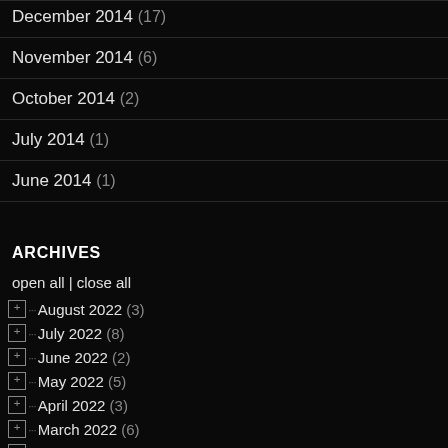December 2014 (17)
November 2014 (6)
October 2014 (2)
July 2014 (1)
June 2014 (1)
ARCHIVES
open all | close all
August 2022 (3)
July 2022 (8)
June 2022 (2)
May 2022 (5)
April 2022 (3)
March 2022 (6)
January 2022 (10)
December 2021 (4)
November 2021 (6)